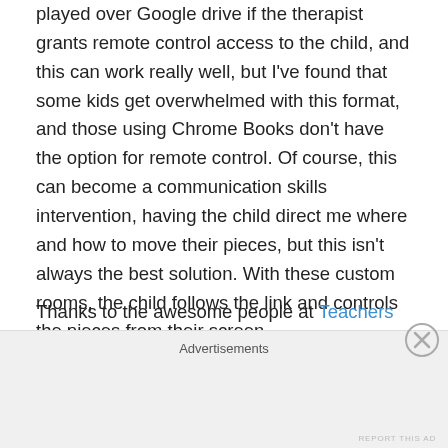played over Google drive if the therapist grants remote control access to the child, and this can work really well, but I've found that some kids get overwhelmed with this format, and those using Chrome Books don't have the option for remote control. Of course, this can become a communication skills intervention, having the child direct me where and how to move their pieces, but this isn't always the best solution. With these custom rooms, the child follows the link and controls the pieces from their screen.
Thanks to the awesome people at Teachers Pay Teachers, I can make these games available for download! Because of the time it takes to put these games together, I will be
Advertisements